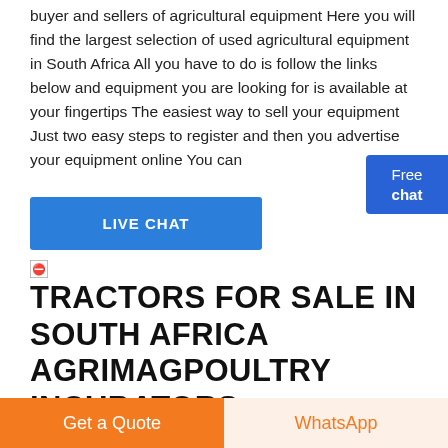buyer and sellers of agricultural equipment Here you will find the largest selection of used agricultural equipment in South Africa All you have to do is follow the links below and equipment you are looking for is available at your fingertips The easiest way to sell your equipment Just two easy steps to register and then you advertise your equipment online You can
[Figure (other): Free chat widget button in blue with a person illustration, showing 'Free chat' text]
LIVE CHAT
[Figure (other): Small broken image icon]
TRACTORS FOR SALE IN SOUTH AFRICA AGRIMAGPOULTRY INCUBATORS HATCHERY ABATTOIR EOUIPMENT
Get a Quote
WhatsApp